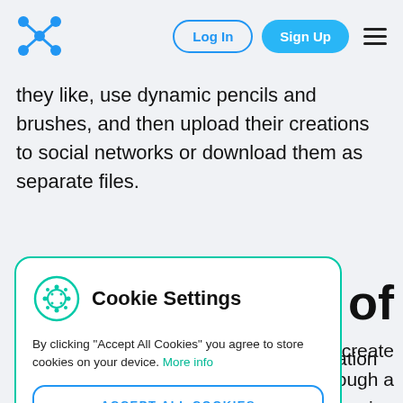[Figure (screenshot): Navigation bar with blue cross/network logo, Log In button (outlined), Sign Up button (blue filled), and hamburger menu icon]
they like, use dynamic pencils and brushes, and then upload their creations to social networks or download them as separate files.
e of
y create
ings through a
anced learning
lobal
ucational
e writing an
[Figure (screenshot): Cookie Settings modal dialog with cookie icon, title 'Cookie Settings', body text 'By clicking "Accept All Cookies" you agree to store cookies on your device. More info', ACCEPT ALL COOKIES button (blue outlined), and SETTINGS button (gray)]
essay or drawing images for a presentation by hand